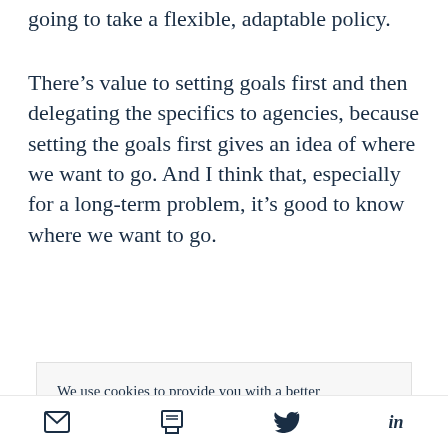going to take a flexible, adaptable policy.
There’s value to setting goals first and then delegating the specifics to agencies, because setting the goals first gives an idea of where we want to go. And I think that, especially for a long-term problem, it’s good to know where we want to go.
We use cookies to provide you with a better service. Carry on browsing if you’re happy with this, or find out more.
email | print | twitter | linkedin